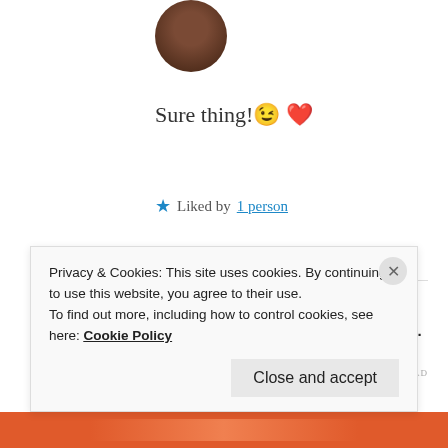[Figure (photo): Circular avatar photo of a person, dark tones]
Sure thing! 😉 ❤️
★ Liked by 1 person
AUTOMATTIC
Build a better web and a better world.
REPORT THIS AD
Privacy & Cookies: This site uses cookies. By continuing to use this website, you agree to their use.
To find out more, including how to control cookies, see here: Cookie Policy
Close and accept